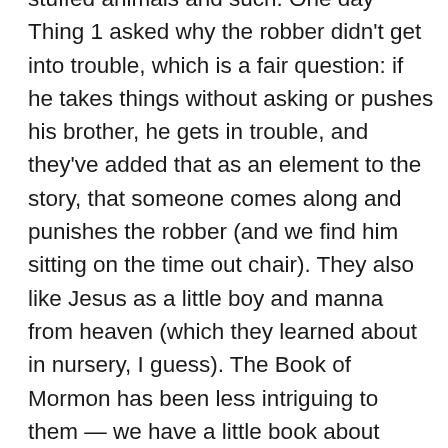stuffed animals and such. One day Thing 1 asked why the robber didn't get into trouble, which is a fair question: if he takes things without asking or pushes his brother, he gets in trouble, and they've added that as an element to the story, that someone comes along and punishes the robber (and we find him sitting on the time out chair). They also like Jesus as a little boy and manna from heaven (which they learned about in nursery, I guess). The Book of Mormon has been less intriguing to them — we have a little book about Ammon, which they call Ammon Hurts People. Somehow the Book of Mormon seems to be less about being fair and good — their level of moral judgement — and more about complex moral issues. They do like Nephi and his ability to build things, from the cartoon books